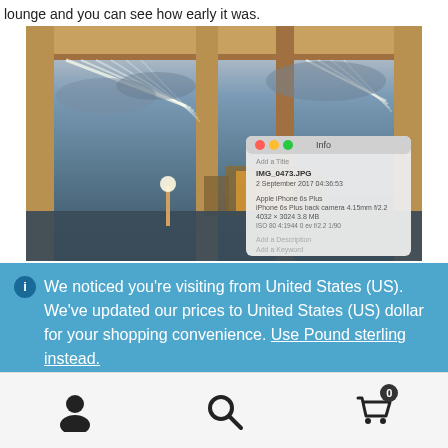lounge and you can see how early it was.
[Figure (photo): Photo of an airport lounge at dawn/early morning with reflective glass windows showing an illuminated terminal building and cloudy sky outside. An image info panel (Mac OS X Info window) is overlaid in the bottom right showing file details: IMG_0473.JPG, 2 September 2017, 04:36:53, Apple iPhone 6s Plus, 4032x3024, 3.8 MB.]
We noticed you're visiting from United States (US). We've updated our prices to United States (US) dollar for your shopping convenience. Use Pound sterling instead.
Dismiss
[Figure (infographic): Bottom navigation bar with three icons: user/account icon, search/magnifying glass icon, and shopping cart icon with badge showing 0]